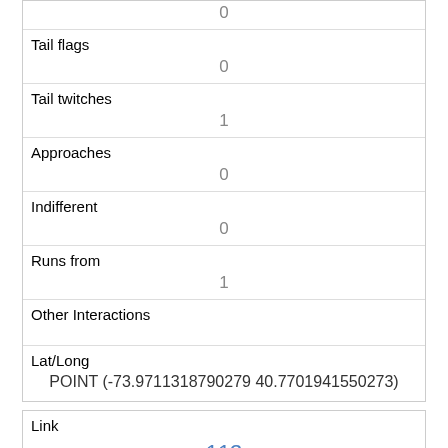| 0 |
| Tail flags | 0 |
| Tail twitches | 1 |
| Approaches | 0 |
| Indifferent | 0 |
| Runs from | 1 |
| Other Interactions |  |
| Lat/Long | POINT (-73.9711318790279 40.7701941550273) |
| Link | 113 |
| rowid | 113 |